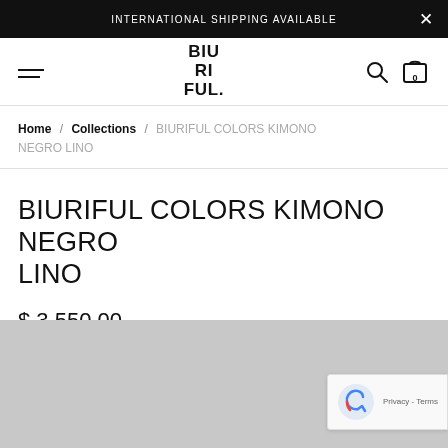INTERNATIONAL SHIPPING AVAILABLE
[Figure (logo): BIU RI FUL. brand logo in center of navigation bar with hamburger menu on left and search/bag icons on right]
Home / Collections / BIURIFUL COLORS KIMONO NEGRO LINO
BIURIFUL COLORS KIMONO NEGRO LINO
$ 3,550.00
[Figure (other): Gray image placeholder area at the bottom of the page with reCAPTCHA badge in the bottom right corner showing Privacy - Terms text]